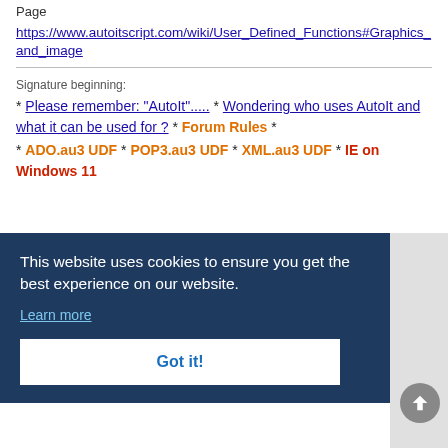Page
https://www.autoitscript.com/wiki/User_Defined_Functions#Graphics_and_image
Signature beginning:
* Please remember: "AutoIt"..... * Wondering who uses AutoIt and what it can be used for ? * Forum Rules *
* ADO.au3 UDF * POP3.au3 UDF * XML.au3 UDF * IE on Windows 11
This website uses cookies to ensure you get the best experience on our website.
Learn more
Got it!